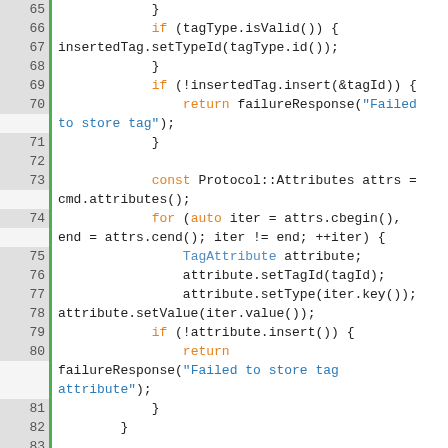[Figure (screenshot): Source code screenshot showing C++ code lines 65-89 with syntax highlighting. Line numbers in grey column on left with green vertical bar. Keywords in orange, type names in blue, string literals in blue.]